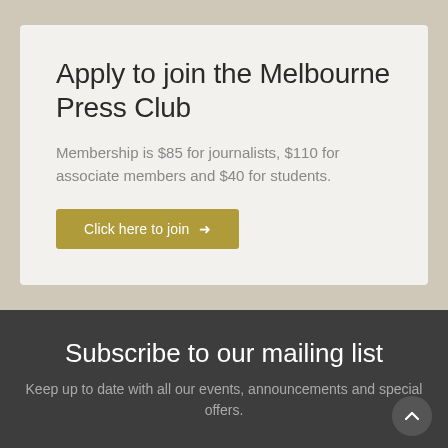Apply to join the Melbourne Press Club
Membership is $85 for journalists, $110 for associate members and $40 for students.
Click here to join →
Subscribe to our mailing list
Keep up to date with all our events, announcements and special offers.